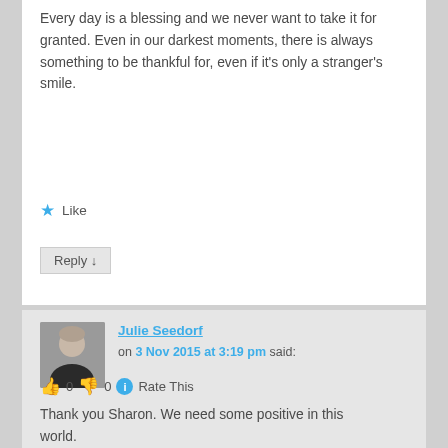Every day is a blessing and we never want to take it for granted. Even in our darkest moments, there is always something to be thankful for, even if it's only a stranger's smile.
★ Like
Reply ↓
Julie Seedorf on 3 Nov 2015 at 3:19 pm said:
👍 0 👎 0 ℹ Rate This
Thank you Sharon. We need some positive in this world.
★ Like
Reply ↓